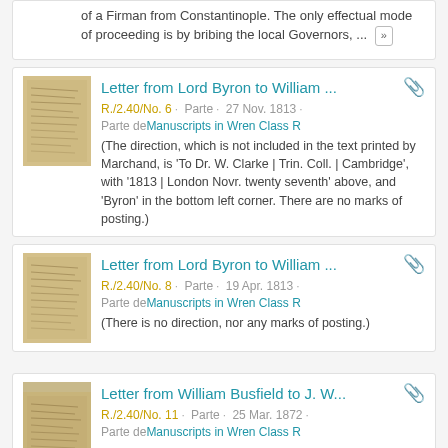of a Firman from Constantinople. The only effectual mode of proceeding is by bribing the local Governors, ...
Letter from Lord Byron to William ...
R./2.40/No. 6 · Parte · 27 Nov. 1813 · Parte de Manuscripts in Wren Class R
(The direction, which is not included in the text printed by Marchand, is 'To Dr. W. Clarke | Trin. Coll. | Cambridge', with '1813 | London Novr. twenty seventh' above, and 'Byron' in the bottom left corner. There are no marks of posting.)
Letter from Lord Byron to William ...
R./2.40/No. 8 · Parte · 19 Apr. 1813 · Parte de Manuscripts in Wren Class R
(There is no direction, nor any marks of posting.)
Letter from William Busfield to J. W...
R./2.40/No. 11 · Parte · 25 Mar. 1872 · Parte de Manuscripts in Wren Class R